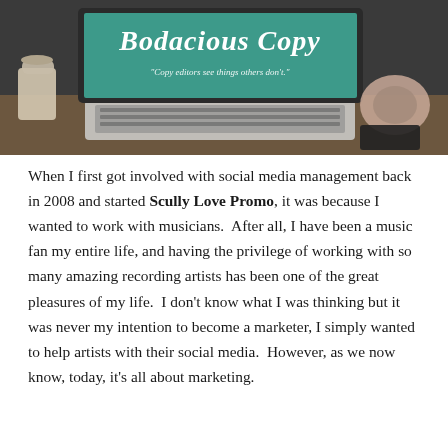[Figure (photo): Blog header image showing a laptop with 'Bodacious Copy' text and quote 'Copy editors see things others don't.' displayed on screen. A coffee cup and rose gold headphones are visible on a wooden desk.]
When I first got involved with social media management back in 2008 and started Scully Love Promo, it was because I wanted to work with musicians. After all, I have been a music fan my entire life, and having the privilege of working with so many amazing recording artists has been one of the great pleasures of my life. I don't know what I was thinking but it was never my intention to become a marketer, I simply wanted to help artists with their social media. However, as we now know, today, it's all about marketing.